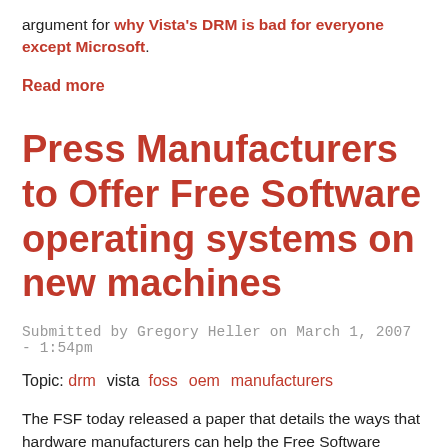argument for why Vista's DRM is bad for everyone except Microsoft.
Read more
Press Manufacturers to Offer Free Software operating systems on new machines
Submitted by Gregory Heller on March 1, 2007 - 1:54pm
Topic: drm  vista  foss  oem  manufacturers
The FSF today released a paper that details the ways that hardware manufacturers can help the Free Software